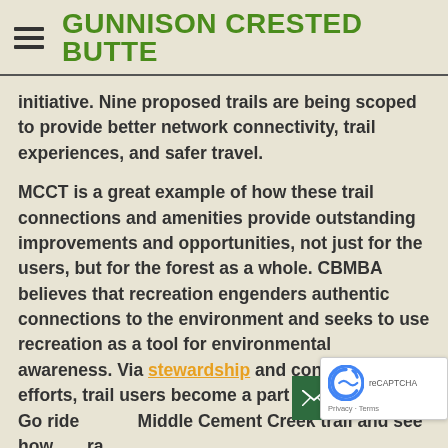GUNNISON CRESTED BUTTE
initiative. Nine proposed trails are being scoped to provide better network connectivity, trail experiences, and safer travel.
MCCT is a great example of how these trail connections and amenities provide outstanding improvements and opportunities, not just for the users, but for the forest as a whole. CBMBA believes that recreation engenders authentic connections to the environment and seeks to use recreation as a tool for environmental awareness. Via stewardship and conservation efforts, trail users become a part of the solution. Go ride Middle Cement Creek trail and see how ra...